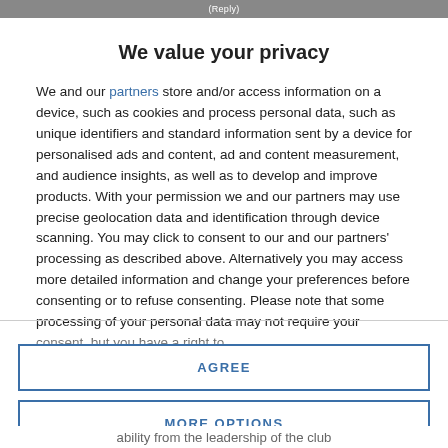(Reply)
We value your privacy
We and our partners store and/or access information on a device, such as cookies and process personal data, such as unique identifiers and standard information sent by a device for personalised ads and content, ad and content measurement, and audience insights, as well as to develop and improve products. With your permission we and our partners may use precise geolocation data and identification through device scanning. You may click to consent to our and our partners' processing as described above. Alternatively you may access more detailed information and change your preferences before consenting or to refuse consenting. Please note that some processing of your personal data may not require your consent, but you have a right to
AGREE
MORE OPTIONS
ability from the leadership of the club